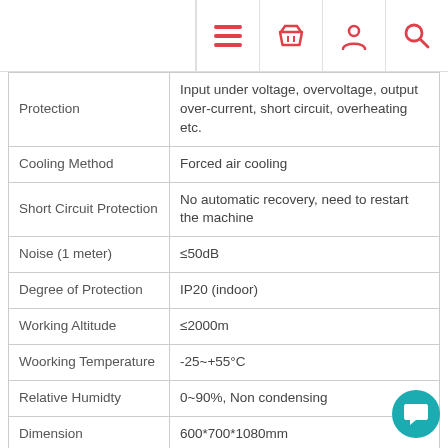Navigation bar with menu, cart, user, and search icons
| Feature | Value |
| --- | --- |
| Protection | Input under voltage, overvoltage, output over-current, short circuit, overheating etc. |
| Cooling Method | Forced air cooling |
| Short Circuit Protection | No automatic recovery, need to restart the machine |
| Noise (1 meter) | ≤50dB |
| Degree of Protection | IP20 (indoor) |
| Working Altitude | ≤2000m |
| Woorking Temperature | -25~+55°C |
| Relative Humidty | 0~90%, Non condensing |
| Dimension | 600*700*1080mm |
| Weight | 320kg |